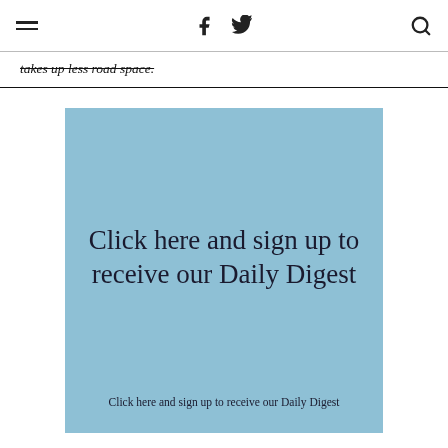[hamburger menu] [facebook icon] [twitter icon] [search icon]
takes up less road space.
[Figure (other): A light blue advertisement box with large serif text reading 'Click here and sign up to receive our Daily Digest' and smaller text below repeating the same message.]
Click here and sign up to receive our Daily Digest